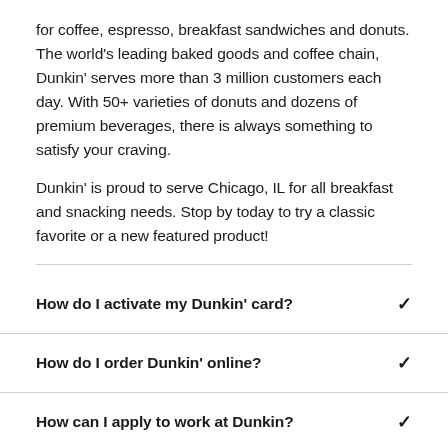for coffee, espresso, breakfast sandwiches and donuts. The world's leading baked goods and coffee chain, Dunkin' serves more than 3 million customers each day. With 50+ varieties of donuts and dozens of premium beverages, there is always something to satisfy your craving.
Dunkin' is proud to serve Chicago, IL for all breakfast and snacking needs. Stop by today to try a classic favorite or a new featured product!
How do I activate my Dunkin' card?
How do I order Dunkin' online?
How can I apply to work at Dunkin?
Does Dunkin' deliver?